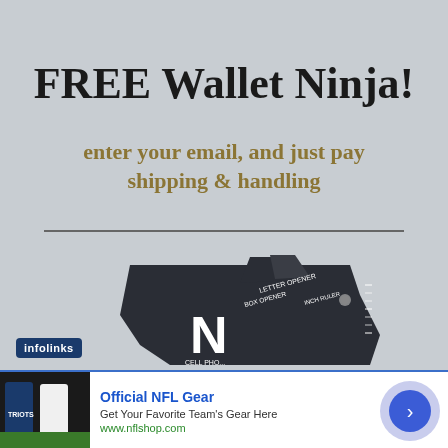FREE Wallet Ninja!
enter your email, and just pay shipping & handling
[Figure (photo): Dark multi-tool wallet card (Wallet Ninja) with text markings: LETTER OPENER, INCH RULER, BOX OPENER, CELL PHO... partially visible, large letter N visible on dark card surface]
[Figure (logo): infolinks badge in dark blue]
[Figure (photo): NFL jerseys photo — Patriots players in dark and white jerseys]
Official NFL Gear
Get Your Favorite Team's Gear Here
www.nflshop.com